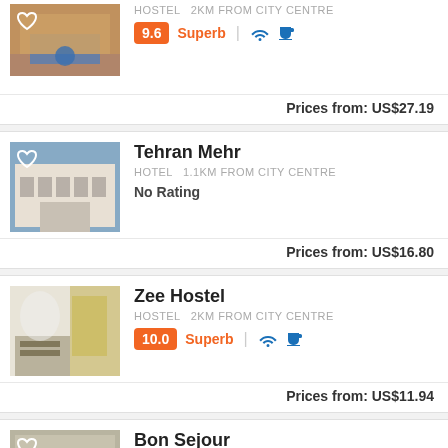[Figure (photo): First listing hotel photo with heart icon, partial view at top]
HOSTEL  2km from city centre
9.6  Superb  [wifi] [coffee]
Prices from:  US$27.19
Tehran Mehr
[Figure (photo): Tehran Mehr hotel building photo with heart icon]
HOTEL  1.1km from city centre
No Rating
Prices from:  US$16.80
Zee Hostel
[Figure (photo): Zee Hostel interior photo]
HOSTEL  2km from city centre
10.0  Superb  [wifi] [coffee]
Prices from:  US$11.94
Bon Sejour
[Figure (photo): Bon Sejour photo with heart icon, partial at bottom]